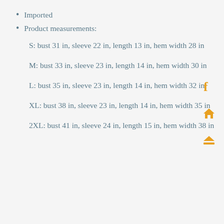Imported
Product measurements:
S: bust 31 in, sleeve 22 in, length 13 in, hem width 28 in
M: bust 33 in, sleeve 23 in, length 14 in, hem width 30 in
L: bust 35 in, sleeve 23 in, length 14 in, hem width 32 in
XL: bust 38 in, sleeve 23 in, length 14 in, hem width 35 in
2XL: bust 41 in, sleeve 24 in, length 15 in, hem width 38 in